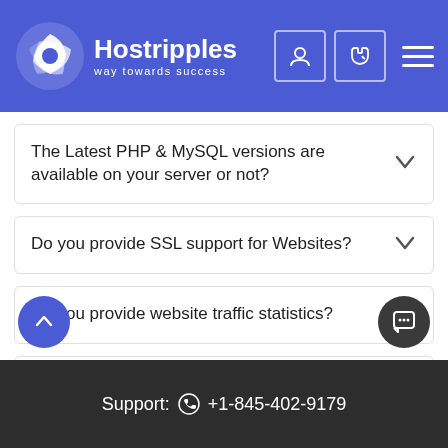[Figure (logo): Hostripples logo with swirl icon, white on blue background, tagline 'way towards success']
The Latest PHP & MySQL versions are available on your server or not?
Do you provide SSL support for Websites?
Do you provide website traffic statistics?
What is the uptime of your servers?
How can I transfer my hosting account from another web hosting service to our web hosting service?
Support: +1-845-402-9179